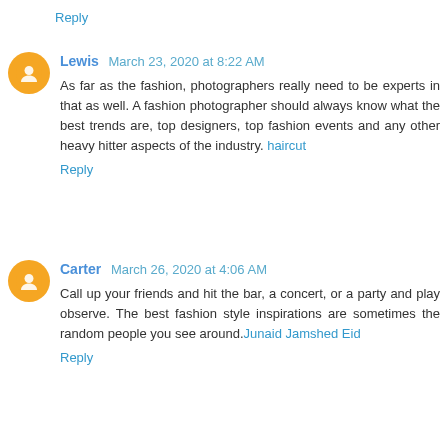Reply
Lewis  March 23, 2020 at 8:22 AM
As far as the fashion, photographers really need to be experts in that as well. A fashion photographer should always know what the best trends are, top designers, top fashion events and any other heavy hitter aspects of the industry. haircut
Reply
Carter  March 26, 2020 at 4:06 AM
Call up your friends and hit the bar, a concert, or a party and play observe. The best fashion style inspirations are sometimes the random people you see around.Junaid Jamshed Eid
Reply